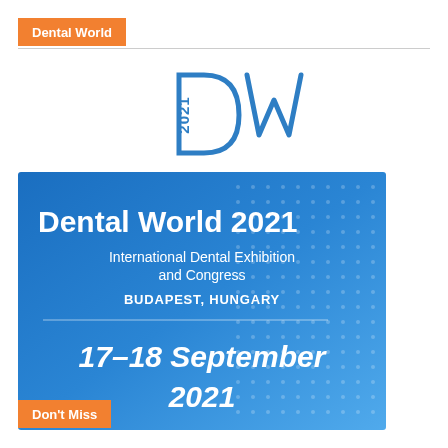Dental World
[Figure (logo): 2021 DW logo — '2021' in blue vertical text on left side of large stylized 'DW' letters in blue outline]
[Figure (infographic): Blue gradient banner for Dental World 2021 International Dental Exhibition and Congress, Budapest Hungary, 17–18 September 2021, with dot pattern overlay on right side]
Don't Miss